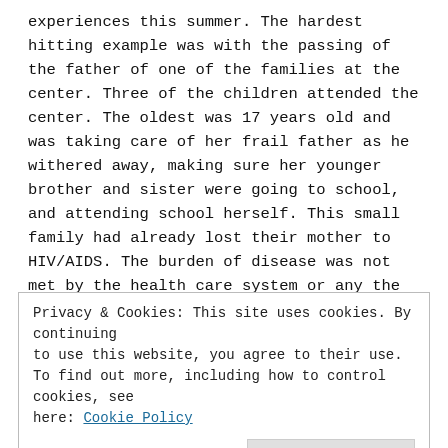experiences this summer. The hardest hitting example was with the passing of the father of one of the families at the center. Three of the children attended the center. The oldest was 17 years old and was taking care of her frail father as he withered away, making sure her younger brother and sister were going to school, and attending school herself. This small family had already lost their mother to HIV/AIDS. The burden of disease was not met by the health care system or any the government response. The burden of disease rests completely on those
Privacy & Cookies: This site uses cookies. By continuing to use this website, you agree to their use.
To find out more, including how to control cookies, see here: Cookie Policy
one of my goals over summer I developed an